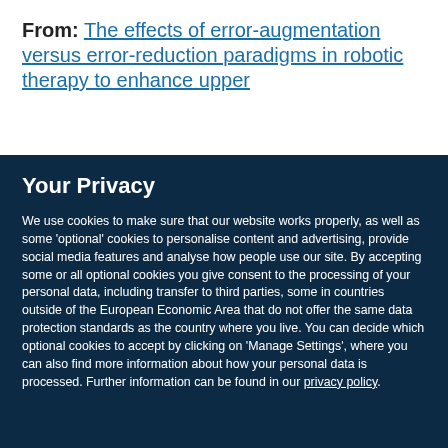From: The effects of error-augmentation versus error-reduction paradigms in robotic therapy to enhance upper
Your Privacy
We use cookies to make sure that our website works properly, as well as some ‘optional’ cookies to personalise content and advertising, provide social media features and analyse how people use our site. By accepting some or all optional cookies you give consent to the processing of your personal data, including transfer to third parties, some in countries outside of the European Economic Area that do not offer the same data protection standards as the country where you live. You can decide which optional cookies to accept by clicking on ‘Manage Settings’, where you can also find more information about how your personal data is processed. Further information can be found in our privacy policy.
Accept all cookies
Manage preferences